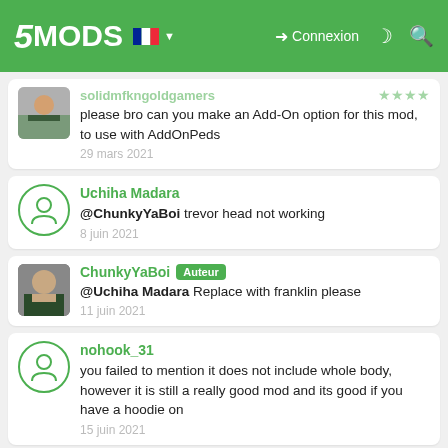5MODS — Connexion
solidmfkngoldgamers — ★★★★ — please bro can you make an Add-On option for this mod, to use with AddOnPeds — 29 mars 2021
Uchiha Madara — @ChunkyYaBoi trevor head not working — 8 juin 2021
ChunkyYaBoi [Auteur] — @Uchiha Madara Replace with franklin please — 11 juin 2021
nohook_31 — you failed to mention it does not include whole body, however it is still a really good mod and its good if you have a hoodie on — 15 juin 2021